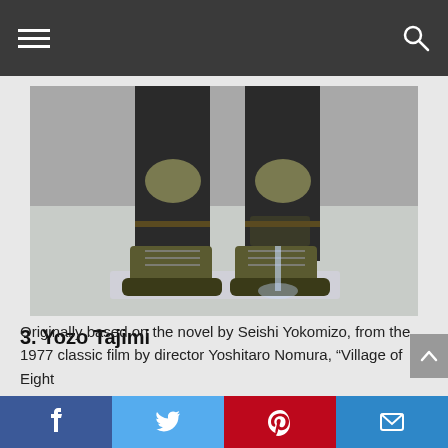Navigation bar with hamburger menu and search icon
[Figure (photo): Close-up of a military/tactical action figure's legs and boots with knee pads, standing on a display base with a clear plastic support stand. The figure wears dark tactical pants and olive-colored boots.]
3. Yozo Tajimi
Originally based on the novel by Seishi Yokomizo, from the 1977 classic film by director Yoshitaro Nomura, "Village of Eight
Social share buttons: Facebook, Twitter, Pinterest, Email